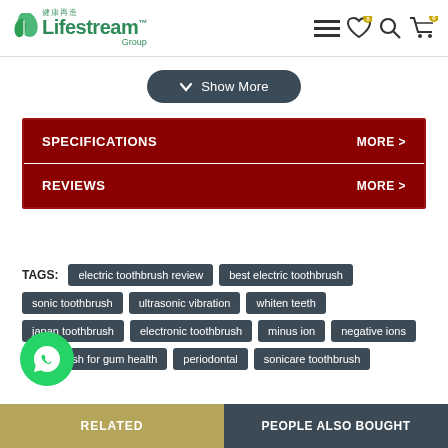Lifestream Group - website header with navigation icons
Show More
SPECIFICATIONS  MORE >
REVIEWS  MORE >
TAGS: electric toothbrush review  best electric toothbrush  sonic toothbrush  ultrasonic vibration  whiten teeth  japan toothbrush  electronic toothbrush  minus ion  negative ions  toothbrush for gum health  periodontal  sonicare toothbrush
[Figure (logo): WhatsApp chat button - green circle with phone icon]
RELATED  PEOPLE ALSO BOUGHT